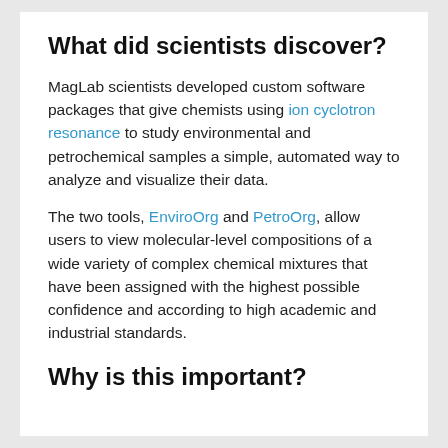What did scientists discover?
MagLab scientists developed custom software packages that give chemists using ion cyclotron resonance to study environmental and petrochemical samples a simple, automated way to analyze and visualize their data.
The two tools, EnviroOrg and PetroOrg, allow users to view molecular-level compositions of a wide variety of complex chemical mixtures that have been assigned with the highest possible confidence and according to high academic and industrial standards.
Why is this important?